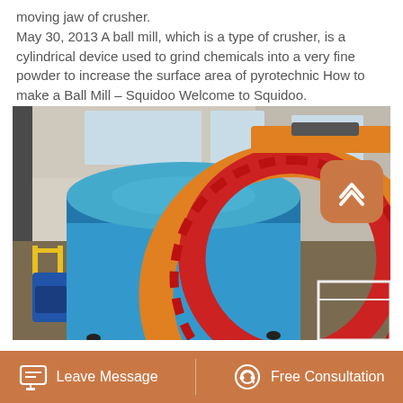moving jaw of crusher.
May 30, 2013 A ball mill, which is a type of crusher, is a cylindrical device used to grind chemicals into a very fine powder to increase the surface area of pyrotechnic How to make a Ball Mill – Squidoo Welcome to Squidoo.
[Figure (photo): Industrial ball mill inside a large warehouse/factory. A large blue cylindrical drum intersects a large orange and red ring gear. Workers and blue machinery visible in the background.]
Leave Message
Free Consultation